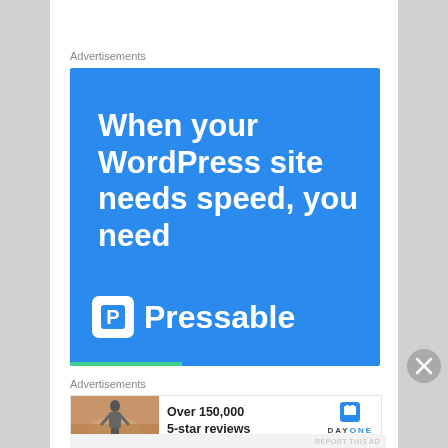Advertisements
[Figure (illustration): Pressable advertisement on blue background with text 'When your WordPress site needs speed, you need Pressable' and the Pressable logo with P icon]
Advertisements
[Figure (illustration): Day One Journal advertisement showing a person photographing a sunset with text 'Over 150,000 5-star reviews' and the Day One Journal logo]